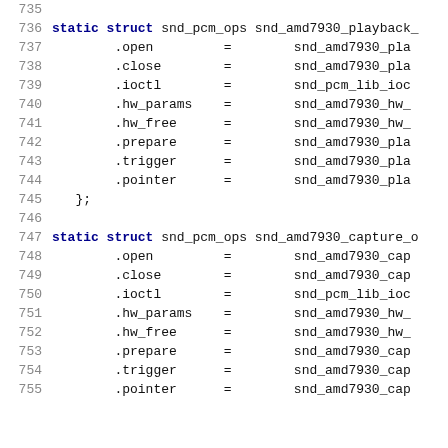Source code lines 735-755 showing snd_pcm_ops struct initialization for AMD7930 playback and capture operations in C.